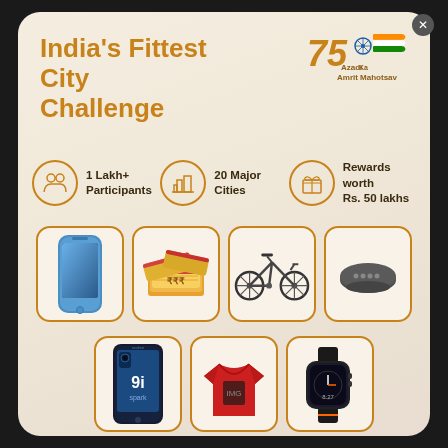India's Fittest City Challenge
[Figure (logo): Azadi Ka Amrit Mahotsav logo with 75 and Indian flag tricolor]
1 Lakh+ Participants
20 Major Cities
Rewards worth Rs. 50 lakhs
[Figure (illustration): Prize items: iPhone, cash bundle, bicycle, Google Home Mini speaker, Realme 9i smartphone, red t-shirt, smartwatch]